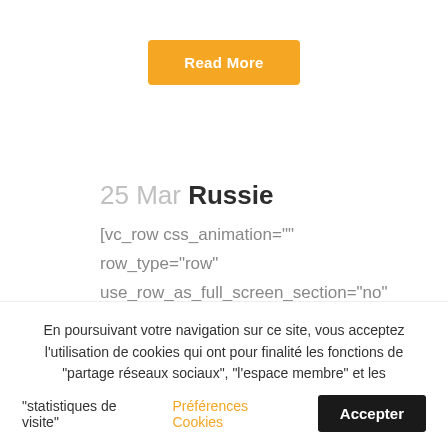[Figure (other): Orange 'Read More' button centered near top of page]
25 Mar Russie
[vc_row css_animation="" row_type="row" use_row_as_full_screen_section="no" type="full_width"
En poursuivant votre navigation sur ce site, vous acceptez l'utilisation de cookies qui ont pour finalité les fonctions de "partage réseaux sociaux", "l'espace membre" et les "statistiques de visite"
Préférences Cookies
Accepter